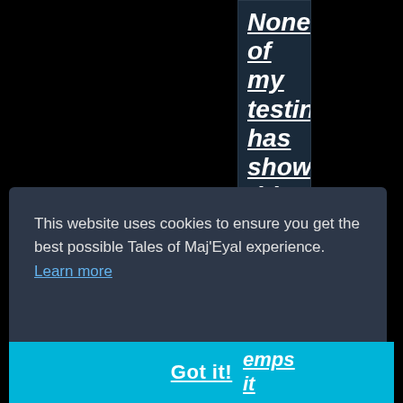None of my testing has shown this is an i...
This website uses cookies to ensure you get the best possible Tales of Maj'Eyal experience. Learn more
Got it!
...emps it